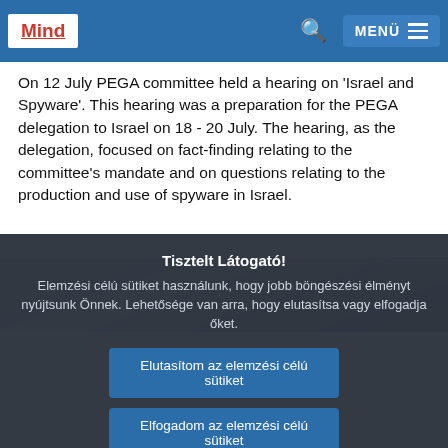Mind | MENÜ
On 12 July PEGA committee held a hearing on 'Israel and Spyware'. This hearing was a preparation for the PEGA delegation to Israel on 18 - 20 July. The hearing, as the delegation, focused on fact-finding relating to the committee's mandate and on questions relating to the production and use of spyware in Israel.
[Figure (photo): Partial view of a photo showing hands or objects, partially obscured by a cookie consent overlay.]
Tisztelt Látogató!
Elemzési célú sütiket használunk, hogy jobb böngészési élményt nyújtsunk Önnek. Lehetősége van arra, hogy elutasítsa vagy elfogadja őket.
Elutasítom az elemzési célú sütiket
Elfogadom az elemzési célú sütiket
Az általunk használt többi sütivel és szervernaplóval kapcsolatos információkért, kérjük, olvassa el adatvédelmi szabályzatunkat , sütikre vonatkozó szabályzatunkat és sütijegyzékünket.